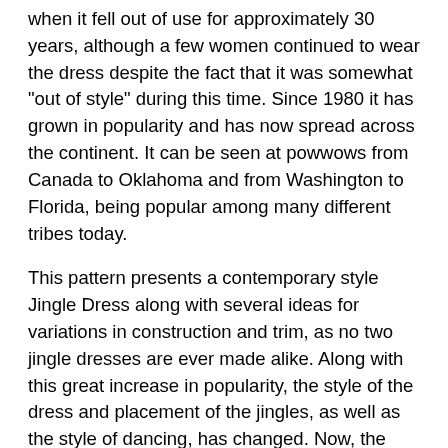when it fell out of use for approximately 30 years, although a few women continued to wear the dress despite the fact that it was somewhat "out of style" during this time. Since 1980 it has grown in popularity and has now spread across the continent. It can be seen at powwows from Canada to Oklahoma and from Washington to Florida, being popular among many different tribes today.
This pattern presents a contemporary style Jingle Dress along with several ideas for variations in construction and trim, as no two jingle dresses are ever made alike. Along with this great increase in popularity, the style of the dress and placement of the jingles, as well as the style of dancing, has changed. Now, the fancy steps and body movements similar to those of the Fancy Shawl dancer have come into vogue among Jingle Dress dancers. These jingles produce a distinct and pleasant ringing sound as they strike each other with the movement of the dancer.